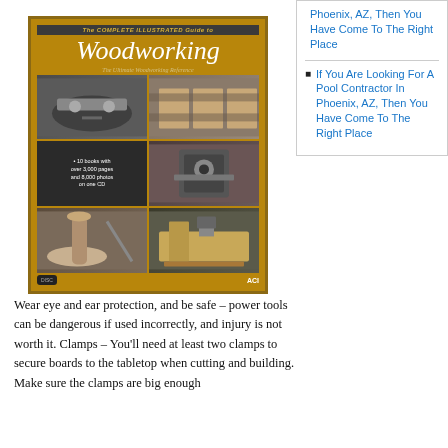[Figure (illustration): Book cover of 'The Complete Illustrated Guide to Woodworking: The Ultimate Woodworking Reference' on a gold/ochre background, showing multiple photos of woodworking activities including routing, cutting boards, using power tools, woodturning, and a workbench. Includes text '10 books with over 3,000 pages and 8,000 photos on one CD'. Has DISC and ACI logos at bottom.]
Phoenix, AZ, Then You Have Come To The Right Place
If You Are Looking For A Pool Contractor In Phoenix, AZ, Then You Have Come To The Right Place
Wear eye and ear protection, and be safe – power tools can be dangerous if used incorrectly, and injury is not worth it. Clamps – You'll need at least two clamps to secure boards to the tabletop when cutting and building. Make sure the clamps are big enough